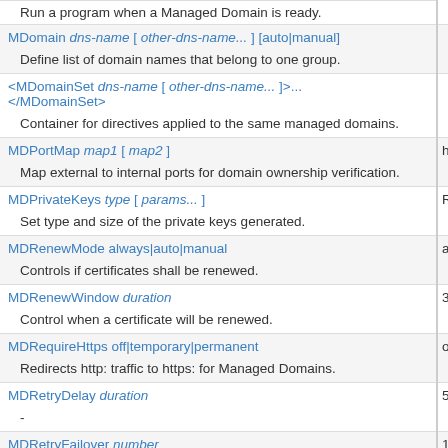| Directive | Default |
| --- | --- |
| [...] Run a program when a Managed Domain is ready. |  |
| MDomain dns-name [ other-dns-name... ] [auto|manual] |  |
| Define list of domain names that belong to one group. |  |
| <MDomainSet dns-name [ other-dns-name... ]>... </MDomainSet> |  |
| Container for directives applied to the same managed domains. |  |
| MDPortMap map1 [ map2 ] | http:80 |
| Map external to internal ports for domain ownership verification. |  |
| MDPrivateKeys type [ params... ] | RSA 2 |
| Set type and size of the private keys generated. |  |
| MDRenewMode always|auto|manual | auto |
| Controls if certificates shall be renewed. |  |
| MDRenewWindow duration | 33% |
| Control when a certificate will be renewed. |  |
| MDRequireHttps off|temporary|permanent | off |
| Redirects http: traffic to https: for Managed Domains. |  |
| MDRetryDelay duration | 5s |
| - |  |
| MDRetryFailover number | 13 |
| - |  |
| MDServerStatus on|off | on |
| Control if Managed Domain information is added to server-status. |  |